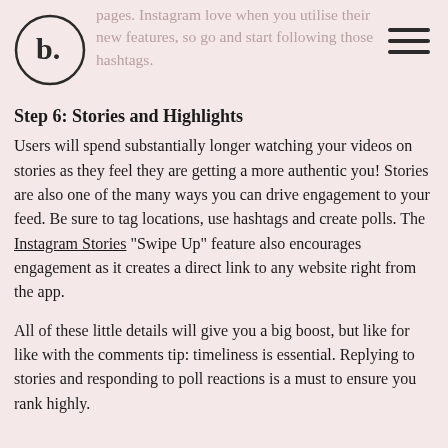pages. Instagram love when you utilise their new features, so go and start following those hashtags.
Step 6: Stories and Highlights
Users will spend substantially longer watching your videos on stories as they feel they are getting a more authentic you! Stories are also one of the many ways you can drive engagement to your feed. Be sure to tag locations, use hashtags and create polls. The Instagram Stories “Swipe Up” feature also encourages engagement as it creates a direct link to any website right from the app.
All of these little details will give you a big boost, but like for like with the comments tip: timeliness is essential. Replying to stories and responding to poll reactions is a must to ensure you rank highly.